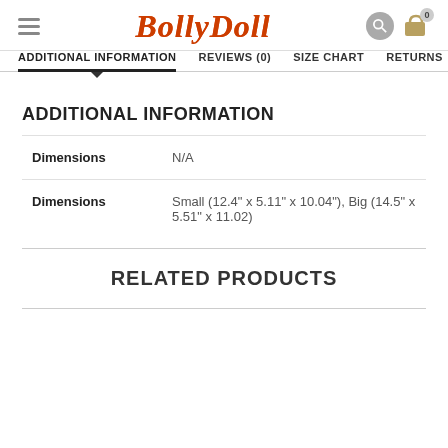BollyDoll
ADDITIONAL INFORMATION | REVIEWS (0) | SIZE CHART | RETURNS
ADDITIONAL INFORMATION
|  |  |
| --- | --- |
| Dimensions | N/A |
| Dimensions | Small (12.4" x 5.11" x 10.04"), Big (14.5" x 5.51" x 11.02) |
RELATED PRODUCTS